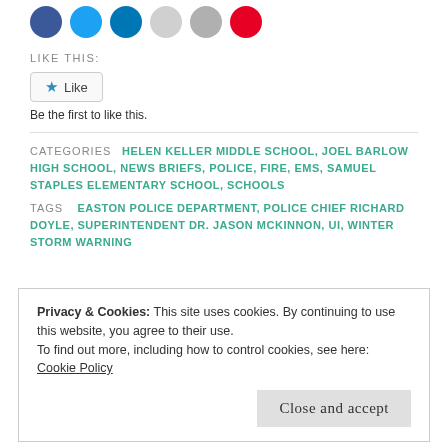[Figure (other): Social media share icons: Facebook (blue), Twitter (blue), LinkedIn (blue), emoji (gray), email (gray), Pinterest (red)]
LIKE THIS:
Like
Be the first to like this.
CATEGORIES  HELEN KELLER MIDDLE SCHOOL, JOEL BARLOW HIGH SCHOOL, NEWS BRIEFS, POLICE, FIRE, EMS, SAMUEL STAPLES ELEMENTARY SCHOOL, SCHOOLS
TAGS  EASTON POLICE DEPARTMENT, POLICE CHIEF RICHARD DOYLE, SUPERINTENDENT DR. JASON MCKINNON, UI, WINTER STORM WARNING
Privacy & Cookies: This site uses cookies. By continuing to use this website, you agree to their use. To find out more, including how to control cookies, see here: Cookie Policy
Close and accept